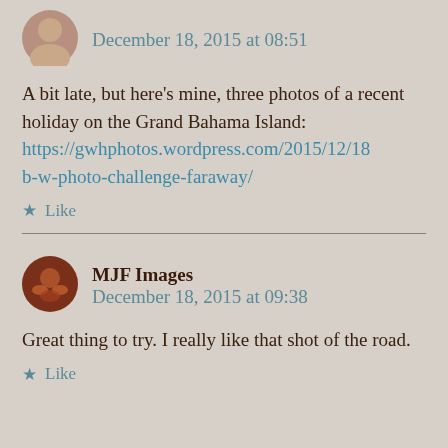[Figure (photo): Circular avatar photo of a person, appears to be a woman with short hair]
December 18, 2015 at 08:51
A bit late, but here’s mine, three photos of a recent holiday on the Grand Bahama Island: https://gwhphotos.wordpress.com/2015/12/18b-w-photo-challenge-faraway/
★ Like
MJF Images
December 18, 2015 at 09:38
Great thing to try. I really like that shot of the road.
★ Like